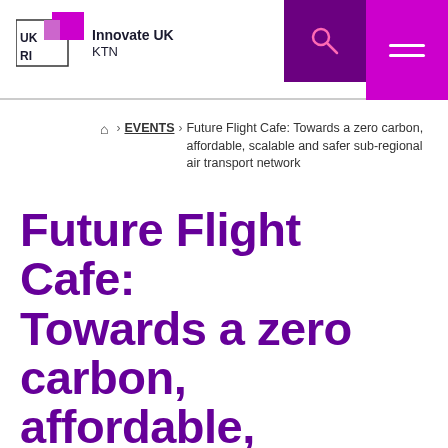Innovate UK KTN
Home › EVENTS › Future Flight Cafe: Towards a zero carbon, affordable, scalable and safer sub-regional air transport network
Future Flight Cafe: Towards a zero carbon, affordable, scalable and safer sub-regional air